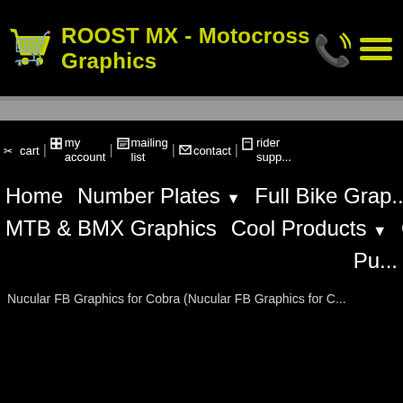ROOST MX - Motocross Graphics
cart | my account | mailing list | contact | rider support
Home | Number Plates ▼ | Full Bike Grap... | MTB & BMX Graphics | Cool Products ▼ | Crew / P... | Pu...
Nucular FB Graphics for Cobra (Nucular FB Graphics for C...